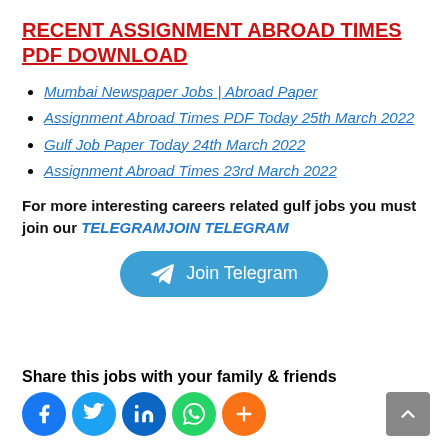RECENT ASSIGNMENT ABROAD TIMES PDF DOWNLOAD
Mumbai Newspaper Jobs | Abroad Paper
Assignment Abroad Times PDF Today 25th March 2022
Gulf Job Paper Today 24th March 2022
Assignment Abroad Times 23rd March 2022
For more interesting careers related gulf jobs you must join our TELEGRAMJOIN TELEGRAM
[Figure (other): Join Telegram button — rounded blue pill button with Telegram paper-plane icon and text 'Join Telegram']
Share this jobs with your family & friends
[Figure (other): Social sharing icons row: Facebook, Twitter, LinkedIn, WhatsApp, More (orange plus)]
[Figure (other): Scroll-to-top button: grey square with upward chevron arrow]